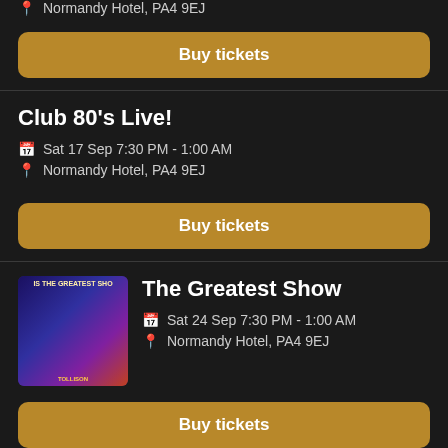Normandy Hotel, PA4 9EJ
Buy tickets
Club 80's Live!
Sat 17 Sep 7:30 PM - 1:00 AM
Normandy Hotel, PA4 9EJ
Buy tickets
The Greatest Show
Sat 24 Sep 7:30 PM - 1:00 AM
Normandy Hotel, PA4 9EJ
Buy tickets
Magic Mike